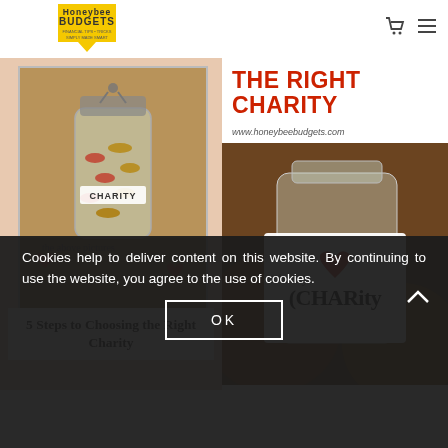Honeybee Budgets
[Figure (screenshot): Left image: jar labeled CHARITY filled with coins on a peach/tan background, with text overlay '5 Steps to Choosing the Right Charity']
THE RIGHT CHARITY
www.honeybeebudgets.com
[Figure (photo): Right image: close-up of a mason jar labeled 'CHARity' with a red heart, filled with coins, warm brown tones]
Cookies help to deliver content on this website. By continuing to use the website, you agree to the use of cookies.
OK